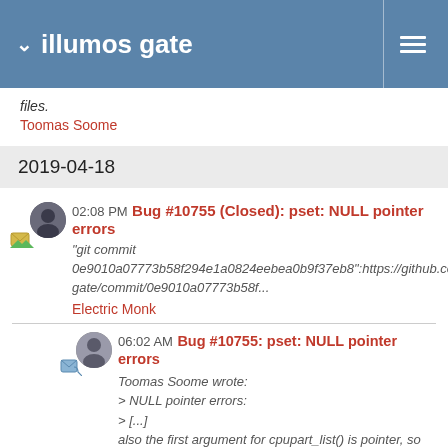illumos gate
files.
Toomas Soome
2019-04-18
02:08 PM Bug #10755 (Closed): pset: NULL pointer errors
"git commit 0e9010a07773b58f294e1a0824eebea0b9f37eb8":https://github.co gate/commit/0e9010a07773b58f...
Electric Monk
06:02 AM Bug #10755: pset: NULL pointer errors
Toomas Soome wrote:
> NULL pointer errors:
> [...]
also the first argument for cpupart_list() is pointer, so we ...
Toomas Soome